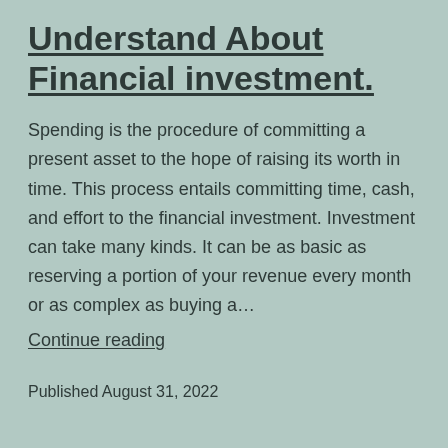Understand About Financial investment.
Spending is the procedure of committing a present asset to the hope of raising its worth in time. This process entails committing time, cash, and effort to the financial investment. Investment can take many kinds. It can be as basic as reserving a portion of your revenue every month or as complex as buying a…
Continue reading
Published August 31, 2022